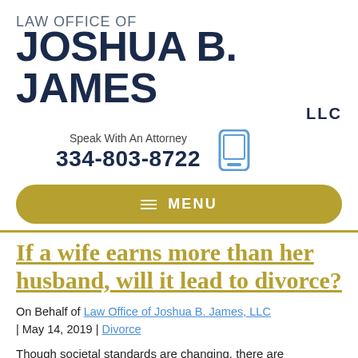LAW OFFICE OF JOSHUA B. JAMES LLC
Speak With An Attorney
334-803-8722
≡ MENU
If a wife earns more than her husband, will it lead to divorce?
On Behalf of Law Office of Joshua B. James, LLC | May 14, 2019 | Divorce
Though societal standards are changing, there are